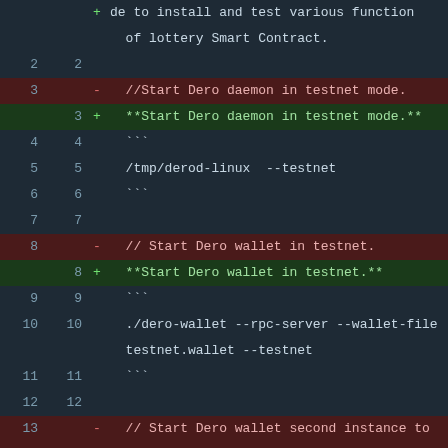Code diff view showing lottery Smart Contract file changes, including daemon and wallet startup commands for testnet mode.